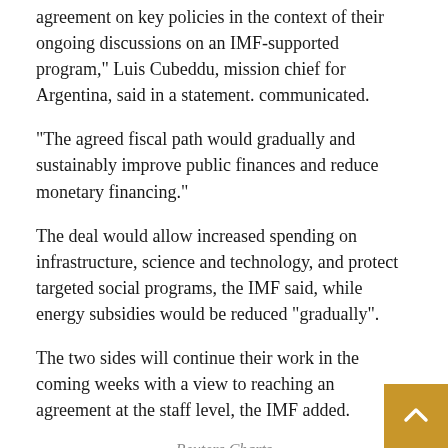agreement on key policies in the context of their ongoing discussions on an IMF-supported program," Luis Cubeddu, mission chief for Argentina, said in a statement. communicated.
“The agreed fiscal path would gradually and sustainably improve public finances and reduce monetary financing.”
The deal would allow increased spending on infrastructure, science and technology, and protect targeted social programs, the IMF said, while energy subsidies would be reduced “gradually”.
The two sides will continue their work in the coming weeks with a view to reaching an agreement at the staff level, the IMF added.
Reuters Charts
‘JUST THE BEGINNING’
Recent uncertainty over a deal has hammered Argentina’s sovereign bonds, while anti-IMF rhetoric has intensified in the